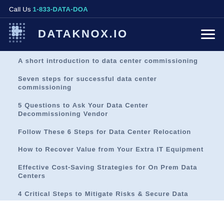Call Us 1-833-DATA-DOA
[Figure (logo): DATAKNOX.IO logo with dot-grid icon on dark navy background with hamburger menu]
A short introduction to data center commissioning
Seven steps for successful data center commissioning
5 Questions to Ask Your Data Center Decommissioning Vendor
Follow These 6 Steps for Data Center Relocation
How to Recover Value from Your Extra IT Equipment
Effective Cost-Saving Strategies for On Prem Data Centers
4 Critical Steps to Mitigate Risks & Secure Data